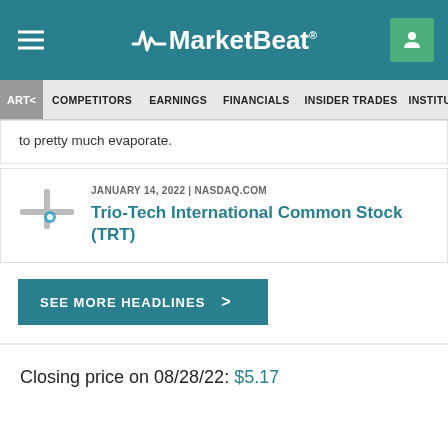MarketBeat
ART< COMPETITORS EARNINGS FINANCIALS INSIDER TRADES INSTITU>ION
to pretty much evaporate.
JANUARY 14, 2022 | NASDAQ.COM
Trio-Tech International Common Stock (TRT)
SEE MORE HEADLINES >
Closing price on 08/28/22: $5.17